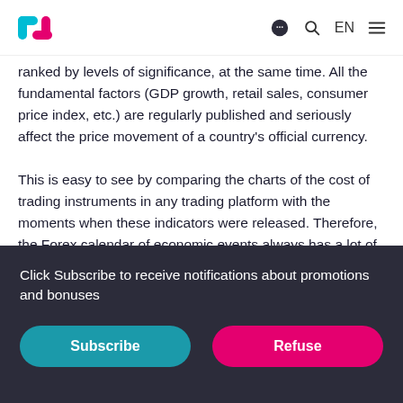TradingPlatform logo | chat icon | search icon | EN | menu icon
ranked by levels of significance, at the same time. All the fundamental factors (GDP growth, retail sales, consumer price index, etc.) are regularly published and seriously affect the price movement of a country's official currency.
This is easy to see by comparing the charts of the cost of trading instruments in any trading platform with the moments when these indicators were released. Therefore, the Forex calendar of economic events always has a lot of food for thought and for building profitable trading strategies. For both bulls and bears, the economic calendar provides a wealth of information that reveals the state of world markets.
Click Subscribe to receive notifications about promotions and bonuses